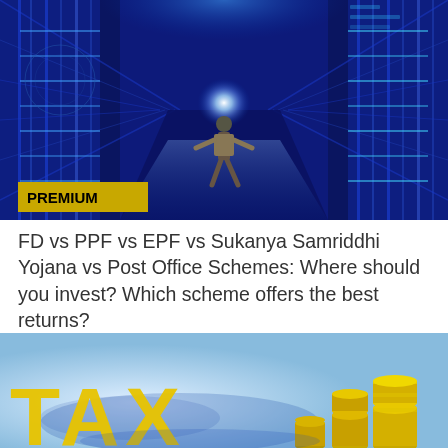[Figure (photo): A man in a suit walking through a futuristic corridor of glowing blue digital server panels, illuminated by bright light at the end of the corridor]
FD vs PPF vs EPF vs Sukanya Samriddhi Yojana vs Post Office Schemes: Where should you invest? Which scheme offers the best returns?
[Figure (photo): Blurred background with coins stacked and the text TAX in large yellow letters in the foreground]